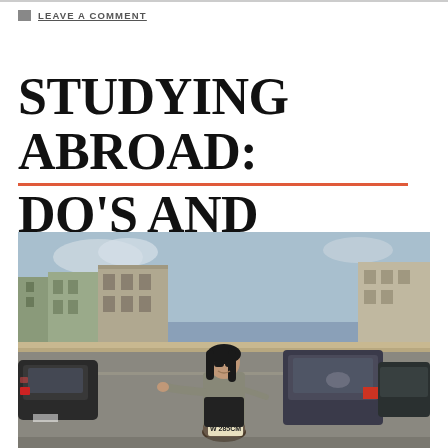LEAVE A COMMENT
STUDYING ABROAD: DO'S AND DON'TS
[Figure (photo): Young woman with sunglasses sitting on a scooter on a busy Italian street, with buildings and traffic visible in the background.]